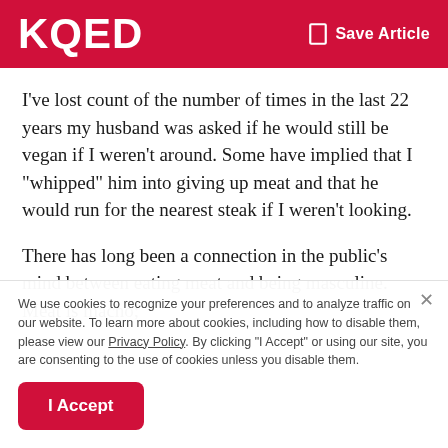KQED   Save Article
I’ve lost count of the number of times in the last 22 years my husband was asked if he would still be vegan if I weren’t around. Some have implied that I “whipped” him into giving up meat and that he would run for the nearest steak if I weren’t looking.
There has long been a connection in the public’s mind between eating meat and being masculine. Meat is macho;
We use cookies to recognize your preferences and to analyze traffic on our website. To learn more about cookies, including how to disable them, please view our Privacy Policy. By clicking “I Accept” or using our site, you are consenting to the use of cookies unless you disable them.
I Accept